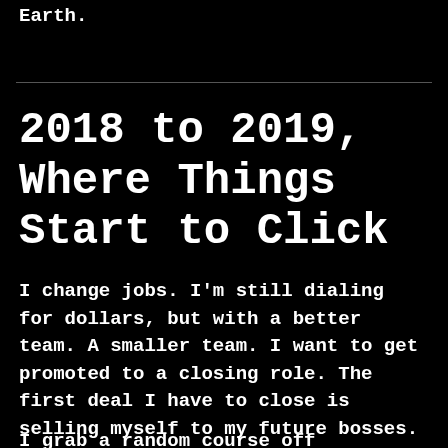Earth.
2018 to 2019, Where Things Start to Click
I change jobs. I'm still dialing for dollars, but with a better team. A smaller team. I want to get promoted to a closing role. The first deal I have to close is selling myself to my future bosses.
I grab a random course off Codecademy